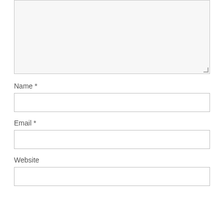[Figure (screenshot): Large textarea input field with light gray background and resize handle at bottom right]
Name *
[Figure (screenshot): Single-line text input field for Name]
Email *
[Figure (screenshot): Single-line text input field for Email]
Website
[Figure (screenshot): Single-line text input field for Website]